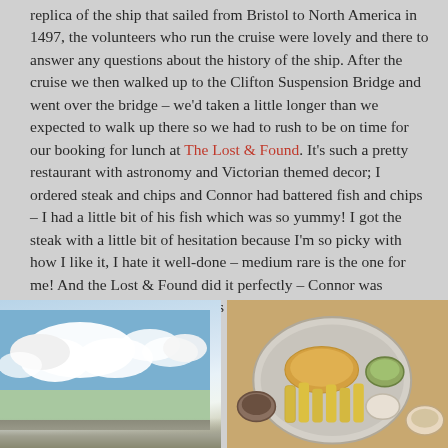replica of the ship that sailed from Bristol to North America in 1497, the volunteers who run the cruise were lovely and there to answer any questions about the history of the ship. After the cruise we then walked up to the Clifton Suspension Bridge and went over the bridge – we'd taken a little longer than we expected to walk up there so we had to rush to be on time for our booking for lunch at The Lost & Found. It's such a pretty restaurant with astronomy and Victorian themed decor; I ordered steak and chips and Connor had battered fish and chips – I had a little bit of his fish which was so yummy! I got the steak with a little bit of hesitation because I'm so picky with how I like it, I hate it well-done – medium rare is the one for me! And the Lost & Found did it perfectly – Connor was jealous that he didn't order it as well!
[Figure (photo): Photo of sky with clouds and what appears to be a bridge or structure at the bottom]
[Figure (photo): Photo of a plate of battered fish and chips with mushy peas and dipping sauces, served in a restaurant]